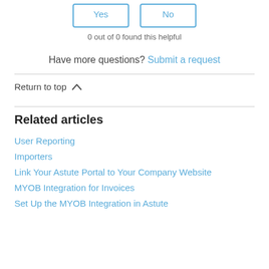Yes | No (buttons)
0 out of 0 found this helpful
Have more questions? Submit a request
Return to top ∧
Related articles
User Reporting
Importers
Link Your Astute Portal to Your Company Website
MYOB Integration for Invoices
Set Up the MYOB Integration in Astute